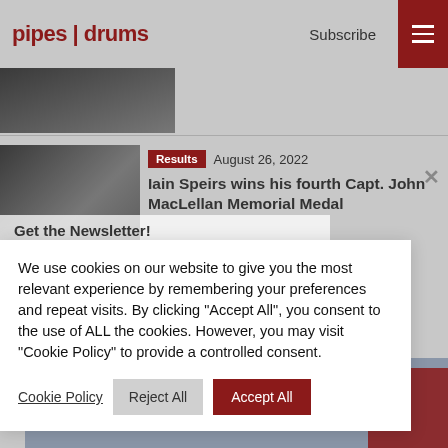pipes|drums  Subscribe
[Figure (photo): Partial photo of a person visible in top left below header]
Results  August 26, 2022
Iain Speirs wins his fourth Capt. John MacLellan Memorial Medal
Get the Newsletter!
Sign up to receive our most popular stories
We use cookies on our website to give you the most relevant experience by remembering your preferences and repeat visits. By clicking “Accept All”, you consent to the use of ALL the cookies. However, you may visit "Cookie Policy" to provide a controlled consent.
Cookie Policy   Reject All   Accept All
[Figure (photo): Partial view of bottom article card with dark blue/grey background and dark red square]